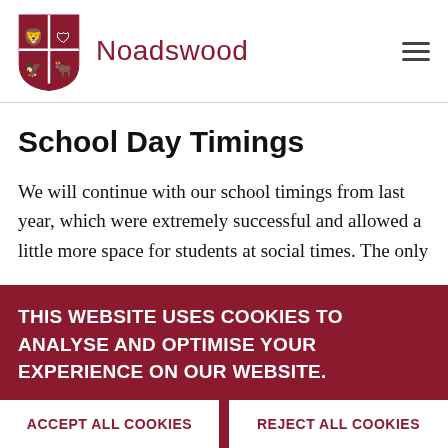Noadswood
School Day Timings
We will continue with our school timings from last year, which were extremely successful and allowed a little more space for students at social times. The only
THIS WEBSITE USES COOKIES TO ANALYSE AND OPTIMISE YOUR EXPERIENCE ON OUR WEBSITE.
ACCEPT ALL COOKIES | REJECT ALL COOKIES